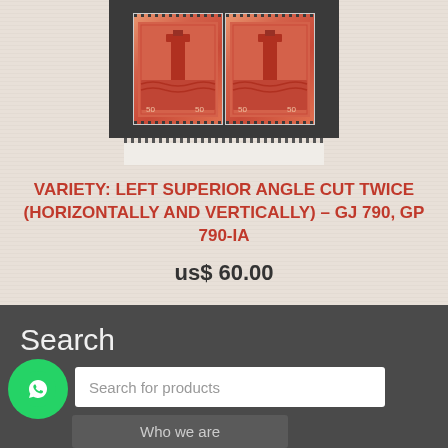[Figure (photo): Two red stamp pair showing a tower/lighthouse design with perforated edges, displayed on dark background with white margin below]
VARIETY: LEFT SUPERIOR ANGLE CUT TWICE (HORIZONTALLY AND VERTICALLY) – GJ 790, GP 790-ia
us$ 60.00
Search
Search for products
Who we are